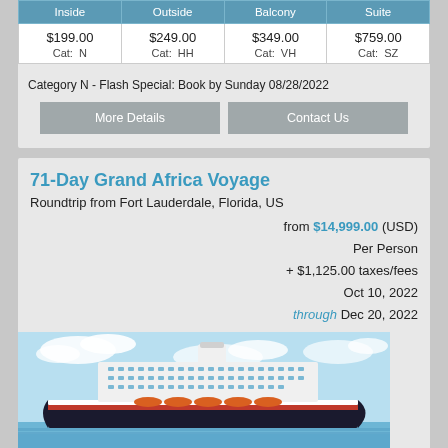| Inside | Outside | Balcony | Suite |
| --- | --- | --- | --- |
| $199.00
Cat: N | $249.00
Cat: HH | $349.00
Cat: VH | $759.00
Cat: SZ |
Category N - Flash Special: Book by Sunday 08/28/2022
More Details | Contact Us
71-Day Grand Africa Voyage
Roundtrip from Fort Lauderdale, Florida, US
from $14,999.00 (USD) Per Person + $1,125.00 taxes/fees Oct 10, 2022 through Dec 20, 2022
[Figure (photo): Cruise ship on blue ocean with partly cloudy sky]